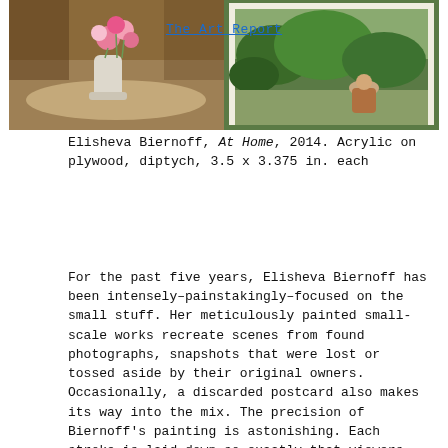[Figure (photo): Two small paintings shown side by side. Left: a still life with flowers in a vase on a table with warm brown tones. Right: a painterly outdoor scene with green foliage and a figure, with a white border like a photograph.]
Elisheva Biernoff, At Home, 2014. Acrylic on plywood, diptych, 3.5 x 3.375 in. each
For the past five years, Elisheva Biernoff has been intensely–painstakingly–focused on the small stuff. Her meticulously painted small-scale works recreate scenes from found photographs, snapshots that were lost or tossed aside by their original owners. Occasionally, a discarded postcard also makes its way into the mix. The precision of Biernoff's painting is astonishing. Each stroke is laid down so exactly that viewers often need a second take to confirm her images' status as paintings. Early on, to help with this verification process, magnifying lenses accompanied a few of her miniscule compositions. Even the versos of Biernoff's works are painted to mimic the photo-lab imprints stamped on the back of her source materials. This degree of attention to detail comes at a price: In the artist's estimation, each work requires at least three months to